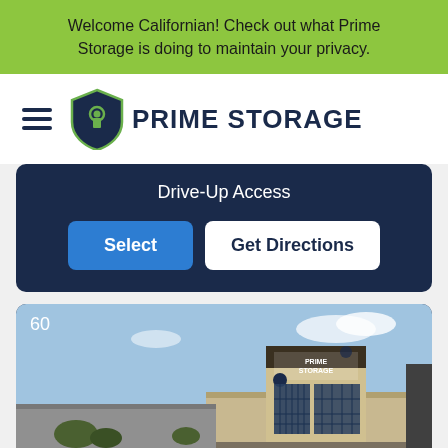Welcome Californian! Check out what Prime Storage is doing to maintain your privacy.
[Figure (logo): Prime Storage logo with shield icon and bold text]
Drive-Up Access
Select
Get Directions
[Figure (photo): Prime Storage facility exterior building photo with '60' label in top left corner]